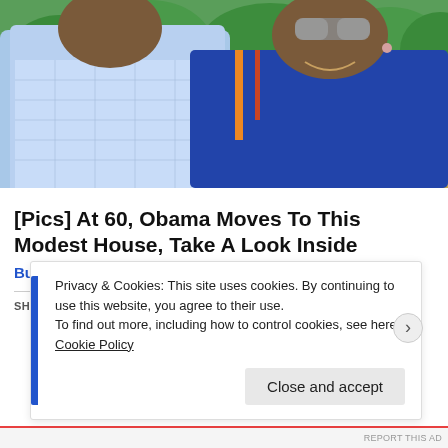[Figure (photo): Two people posing together outdoors; man in light blue checkered shirt on left, woman in blue top with sunglasses on right; green trees and blue structure visible in background.]
[Pics] At 60, Obama Moves To This Modest House, Take A Look Inside
BuzzAura
SHARE THIS:
Privacy & Cookies: This site uses cookies. By continuing to use this website, you agree to their use.
To find out more, including how to control cookies, see here: Cookie Policy
Close and accept